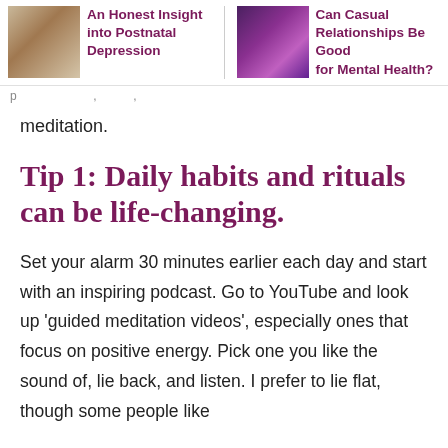An Honest Insight into Postnatal Depression | Can Casual Relationships Be Good for Mental Health?
meditation.
Tip 1: Daily habits and rituals can be life-changing.
Set your alarm 30 minutes earlier each day and start with an inspiring podcast. Go to YouTube and look up ‘guided meditation videos’, especially ones that focus on positive energy. Pick one you like the sound of, lie back, and listen. I prefer to lie flat, though some people like